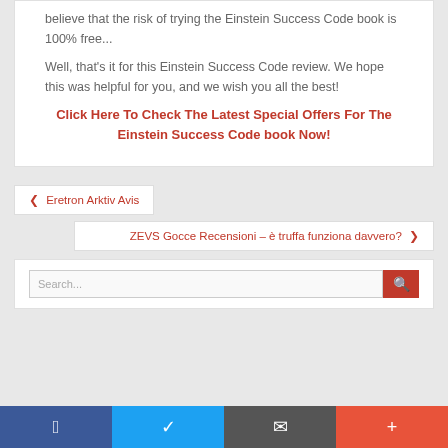believe that the risk of trying the Einstein Success Code book is 100% free...
Well, that's it for this Einstein Success Code review. We hope this was helpful for you, and we wish you all the best!
Click Here To Check The Latest Special Offers For The Einstein Success Code book Now!
❮ Eretron Arktiv Avis
ZEVS Gocce Recensioni – è truffa funziona davvero? ❯
Search...